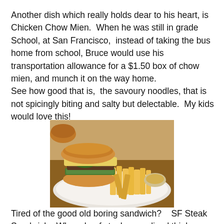Another dish which really holds dear to his heart, is Chicken Chow Mien.  When he was still in grade School, at San Francisco,  instead of taking the bus home from school, Bruce would use his transportation allowance for a $1.50 box of chow mien, and munch it on the way home.
See how good that is,  the savoury noodles, that is not spicingly biting and salty but delectable.  My kids would love this!
[Figure (photo): A burger or steak sandwich topped with melted cheese and peppers, served on a white plate with french fries and a small bowl of dipping sauce.]
Tired of the good old boring sandwich?    SF Steak Sandwich.  Where beef steaks are sliced thinly, topped with